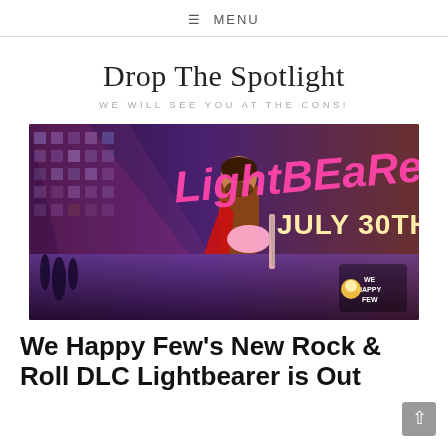≡ MENU
Drop The Spotlight
WE WILL SEE YOU AT THE CONS!
[Figure (photo): Lightbearer DLC promo banner for We Happy Few showing a rock musician with guitar on stage, with text 'LightBearer JULY 30TH' and We Happy Few logo]
We Happy Few's New Rock & Roll DLC Lightbearer is Out